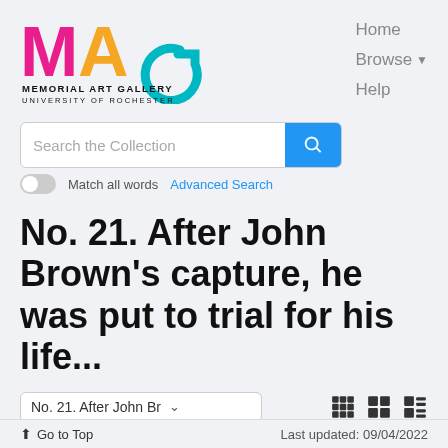[Figure (logo): MAG Memorial Art Gallery University of Rochester logo with colorful letters M (pink), A (orange), G (teal)]
Home
Browse
Help
Search the Collection
Match all words  Advanced Search
No. 21. After John Brown's capture, he was put to trial for his life...
No. 21. After John Br
Go to Top  Last updated: 09/04/2022